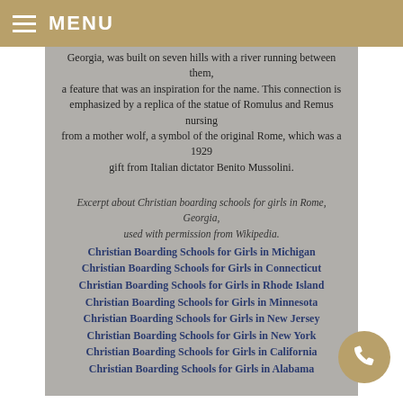MENU
Georgia, was built on seven hills with a river running between them, a feature that was an inspiration for the name. This connection is emphasized by a replica of the statue of Romulus and Remus nursing from a mother wolf, a symbol of the original Rome, which was a 1929 gift from Italian dictator Benito Mussolini.
Excerpt about Christian boarding schools for girls in Rome, Georgia, used with permission from Wikipedia.
Christian Boarding Schools for Girls in Michigan
Christian Boarding Schools for Girls in Connecticut
Christian Boarding Schools for Girls in Rhode Island
Christian Boarding Schools for Girls in Minnesota
Christian Boarding Schools for Girls in New Jersey
Christian Boarding Schools for Girls in New York
Christian Boarding Schools for Girls in California
Christian Boarding Schools for Girls in Alabama
Please consider our Christian boarding school for struggling girls, even though we are not located in Rome, Georgia. We often find that being farther away from is a plus when a girl is getting the helps she needs, so she